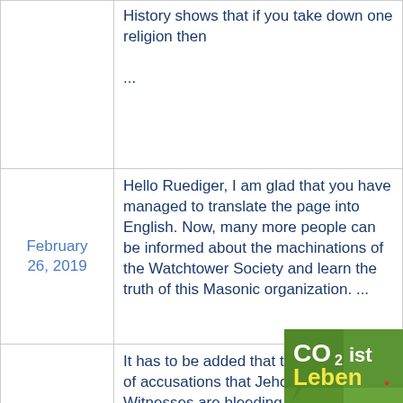| Date | Text |
| --- | --- |
|  | History shows that if you take down one religion then ... |
| February 26, 2019 | Hello Ruediger, I am glad that you have managed to translate the page into English. Now, many more people can be informed about the machinations of the Watchtower Society and learn the truth of this Masonic organization. ... |
| January 26, 2019 | It has to be added that the video is full of accusations that Jehovah's Witnesses are bleeding people to death. It even includes organized bleeding by |
[Figure (logo): CO2 ist Leben logo — green speech bubble with text 'CO2 ist Leben' on a nature background]